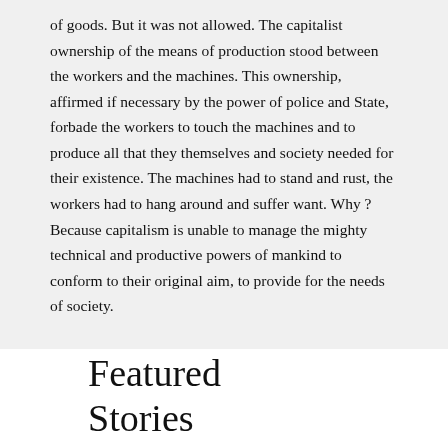of goods. But it was not allowed. The capitalist ownership of the means of production stood between the workers and the machines. This ownership, affirmed if necessary by the power of police and State, forbade the workers to touch the machines and to produce all that they themselves and society needed for their existence. The machines had to stand and rust, the workers had to hang around and suffer want. Why ? Because capitalism is unable to manage the mighty technical and productive powers of mankind to conform to their original aim, to provide for the needs of society.
Featured Stories